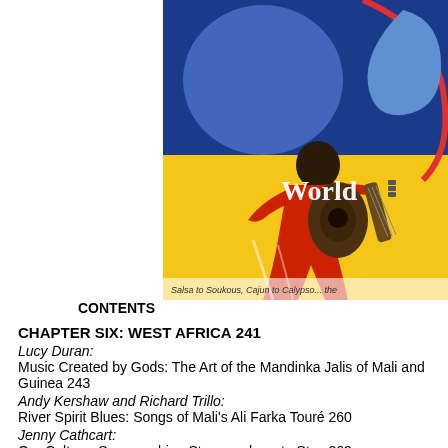[Figure (illustration): Book cover illustration showing a stylized guitarist figure in red playing a guitar, against a yellow and blue background with the word 'World' visible, and text at bottom reading 'Salsa to Soukous, Cajun to Calypso...']
CONTENTS
CHAPTER SIX: WEST AFRICA 241
Lucy Duran:
Music Created by Gods: The Art of the Mandinka Jalis of Mali and Guinea 243
Andy Kershaw and Richard Trillo:
River Spirit Blues: Songs of Mali's Ali Farka Touré 260
Jenny Cathcart:
Our Culture: Senegambian Stars are here to Stay 263